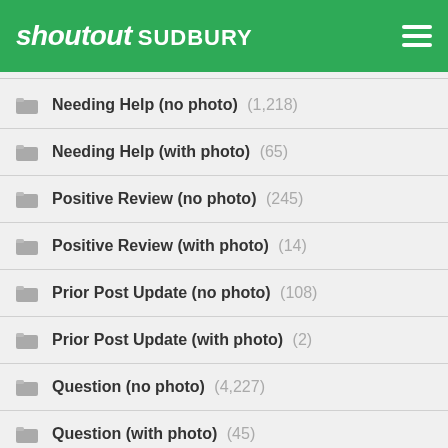shoutout SUDBURY
Needing Help (no photo) (1,218)
Needing Help (with photo) (65)
Positive Review (no photo) (245)
Positive Review (with photo) (14)
Prior Post Update (no photo) (108)
Prior Post Update (with photo) (2)
Question (no photo) (4,227)
Question (with photo) (45)
Rant (no photo) (1,194)